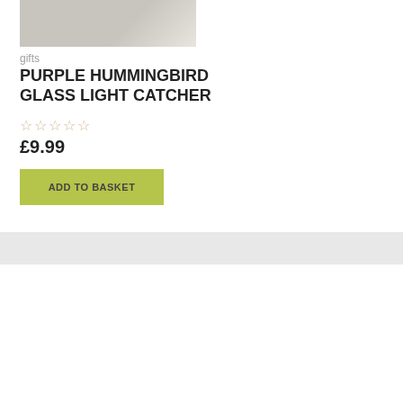[Figure (photo): Partial product image of a purple hummingbird glass light catcher at the top of the page]
gifts
PURPLE HUMMINGBIRD GLASS LIGHT CATCHER
☆☆☆☆☆
£9.99
ADD TO BASKET
We use cookies on our website to give you the most relevant experience by remembering your preferences and repeat visits. By clicking "Accept", you consent to the use of ALL the cookies.
Cookie settings
ACCEPT